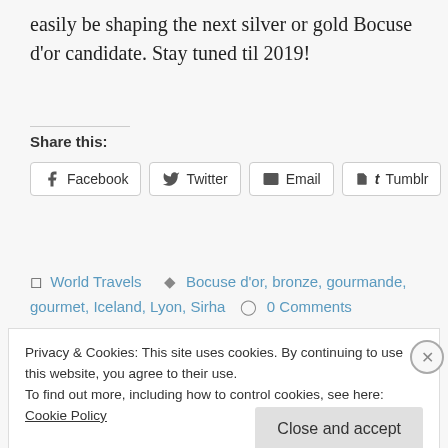easily be shaping the next silver or gold Bocuse d'or candidate. Stay tuned til 2019!
Share this:
Facebook  Twitter  Email  Tumblr
World Travels  Bocuse d'or, bronze, gourmande, gourmet, Iceland, Lyon, Sirha  0 Comments
Privacy & Cookies: This site uses cookies. By continuing to use this website, you agree to their use.
To find out more, including how to control cookies, see here: Cookie Policy
Close and accept